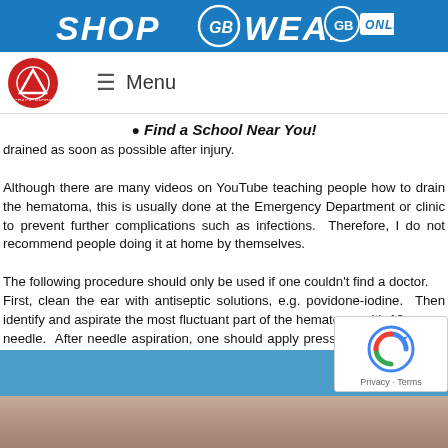[Figure (screenshot): Blue shop banner with 'SHOP GB WEAR ONLINE' text in white italic bold letters, with GB logo badge]
[Figure (screenshot): Navigation bar with Gracie Barra red circle logo on left and hamburger menu icon with 'Menu' text]
📍 Find a School Near You!
drained as soon as possible after injury.

Although there are many videos on YouTube teaching people how to drain the hematoma, this is usually done at the Emergency Department or clinic to prevent further complications such as infections. Therefore, I do not recommend people doing it at home by themselves.

The following procedure should only be used if one couldn't find a doctor.

First, clean the ear with antiseptic solutions, e.g. povidone-iodine. Then identify and aspirate the most fluctuant part of the hematoma with 18-gauge needle. After needle aspiration, one should apply pressure for 15 minutes and then place a pressure dressing firmly on both sides of the ear. Finally, wrap the ear and head with gauze to hold in place.
Cauliflower Ear
[Figure (photo): Bottom partial image of ear/head, partially visible]